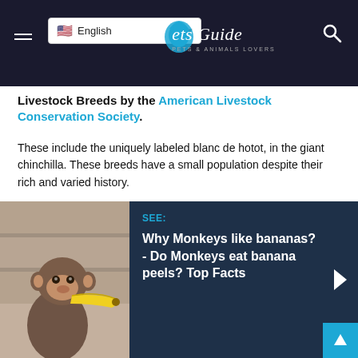Pets Guide
Livestock Breeds by the American Livestock Conservation Society.
These include the uniquely labeled blanc de hotot, in the giant chinchilla. These breeds have a small population despite their rich and varied history.
[Figure (photo): A monkey eating or touching a banana, shown in profile against a wooden background. Adjacent dark blue promo card reads: SEE: Why Monkeys like bananas? - Do Monkeys eat banana peels? Top Facts]